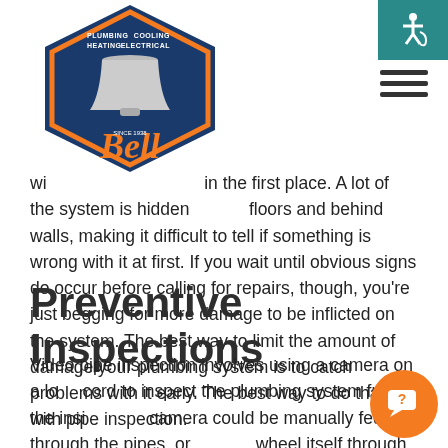[Figure (logo): Bell Plumbing Heating Cooling Electrical company logo with bell icon, orange and navy blue hexagon shape]
[Figure (other): Accessibility icon (wheelchair symbol) in teal/dark cyan box, top right corner]
[Figure (other): Hamburger menu icon (three horizontal lines) below accessibility box]
with in the first place. A lot of the system is hidden floors and behind walls, making it difficult to tell if something is wrong with it at first. If you wait until obvious signs do occur before calling for repairs, though, you're just begging for more damage to be inflicted on the system. The best way to limit the amount of damage your plumbing system is to catch problems with it early. The best way to do that is with pipe inspection.
Preventive Inspections
Video pipe inspection involves using a camera on a long cord to inspect the plumbing system from the inside. The camera could be manually fed through the pipes, or it could wheel itself through the plumbing on motorized wheels. As